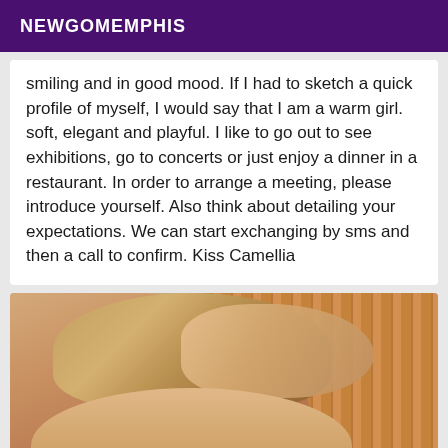NEWGOMEMPHIS
smiling and in good mood. If I had to sketch a quick profile of myself, I would say that I am a warm girl. soft, elegant and playful. I like to go out to see exhibitions, go to concerts or just enjoy a dinner in a restaurant. In order to arrange a meeting, please introduce yourself. Also think about detailing your expectations. We can start exchanging by sms and then a call to confirm. Kiss Camellia
[Figure (photo): Close-up photo of a blonde woman touching her hair with her hand, with a wooden blind/wall in the background]